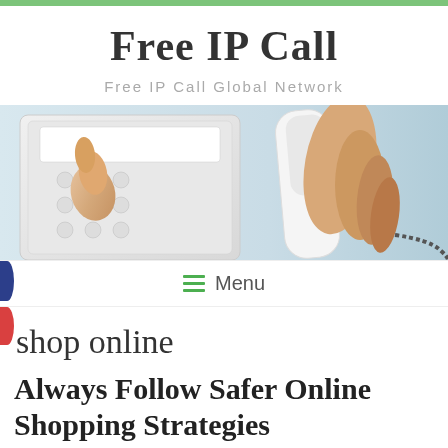Free IP Call
Free IP Call Global Network
[Figure (photo): A hand holding a telephone handset while pressing buttons on a white phone keypad, close-up photo with light blue background.]
≡ Menu
shop online
Always Follow Safer Online Shopping Strategies